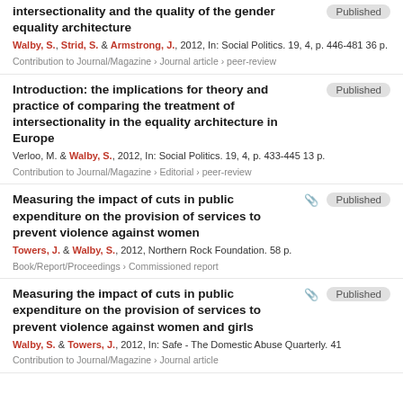intersectionality and the quality of the gender equality architecture — Published
Walby, S., Strid, S. & Armstrong, J., 2012, In: Social Politics. 19, 4, p. 446-481 36 p.
Contribution to Journal/Magazine › Journal article › peer-review
Introduction: the implications for theory and practice of comparing the treatment of intersectionality in the equality architecture in Europe — Published
Verloo, M. & Walby, S., 2012, In: Social Politics. 19, 4, p. 433-445 13 p.
Contribution to Journal/Magazine › Editorial › peer-review
Measuring the impact of cuts in public expenditure on the provision of services to prevent violence against women — Published
Towers, J. & Walby, S., 2012, Northern Rock Foundation. 58 p.
Book/Report/Proceedings › Commissioned report
Measuring the impact of cuts in public expenditure on the provision of services to prevent violence against women and girls — Published
Walby, S. & Towers, J., 2012, In: Safe - The Domestic Abuse Quarterly. 41
Contribution to Journal/Magazine › Journal article